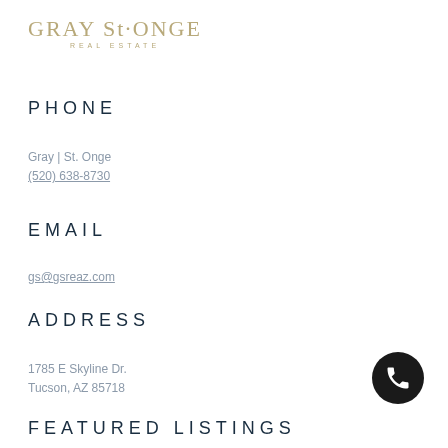[Figure (logo): Gray St. Onge Real Estate logo in gold/tan color]
PHONE
Gray | St. Onge
(520) 638-8730
EMAIL
gs@gsreaz.com
ADDRESS
1785 E Skyline Dr.
Tucson, AZ 85718
FEATURED LISTINGS
[Figure (illustration): Phone/call icon, white telephone handset on black circular background]